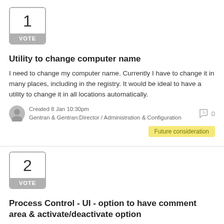[Figure (other): Vote box with number 1 and VOTE label]
Utility to change computer name
I need to change my computer name. Currently I have to change it in many places, including in the registry. It would be ideal to have a utility to change it in all locations automatically.
Created 8 Jan 10:30pm
Gentran & Gentran:Director / Administration & Configuration
Future consideration
[Figure (other): Vote box with number 2 and VOTE label]
Process Control - UI - option to have comment area & activate/deactivate option
Two parts:a. Process Control UI does not have ability for comment field for Session records. 25-30 characters per line.b. The ability to toggle a line/command as Active or Inactive At present, you have to